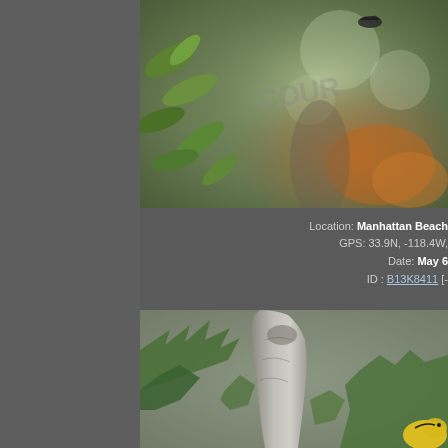[Figure (photo): Close-up nature photograph showing green foliage/leaves with a blurred background containing orange and brown tones, with a small dark bird or insect visible. A watermark text is partially visible.]
Location: Manhattan Beach GPS: 33.9N, -118.4W, Date: May 6 ID : B13K8411 [-
[Figure (photo): Close-up nature photograph of a tree trunk with rough gray bark texture, surrounded by green pine-like foliage. A yellow-colored bird (possibly a warbler) is partially visible at the bottom right.]